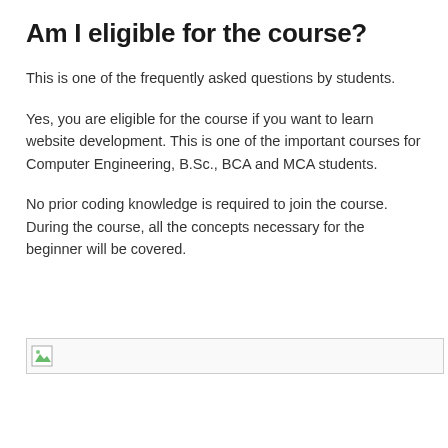Am I eligible for the course?
This is one of the frequently asked questions by students.
Yes, you are eligible for the course if you want to learn website development. This is one of the important courses for Computer Engineering, B.Sc., BCA and MCA students.
No prior coding knowledge is required to join the course. During the course, all the concepts necessary for the beginner will be covered.
[Figure (photo): Broken image placeholder with green icon at bottom of content area]